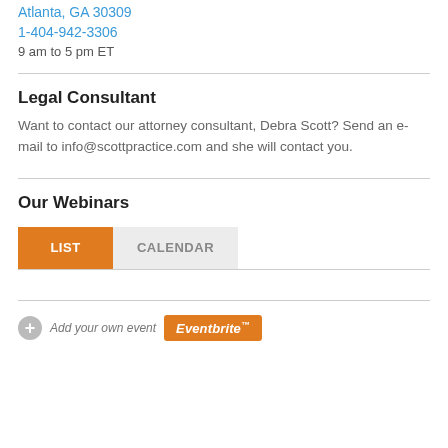Atlanta, GA 30309
1-404-942-3306
9 am to 5 pm ET
Legal Consultant
Want to contact our attorney consultant, Debra Scott? Send an e-mail to info@scottpractice.com and she will contact you.
Our Webinars
[Figure (other): Tab buttons showing LIST (orange/active) and CALENDAR (grey) options]
Add your own event  Eventbrite™